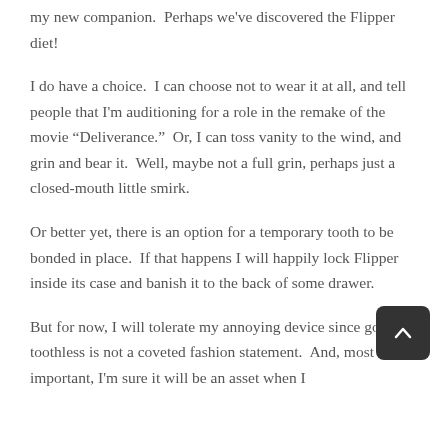my new companion.  Perhaps we've discovered the Flipper diet!
I do have a choice.  I can choose not to wear it at all, and tell people that I'm auditioning for a role in the remake of the movie “Deliverance.”  Or, I can toss vanity to the wind, and grin and bear it.  Well, maybe not a full grin, perhaps just a closed-mouth little smirk.
Or better yet, there is an option for a temporary tooth to be bonded in place.  If that happens I will happily lock Flipper inside its case and banish it to the back of some drawer.
But for now, I will tolerate my annoying device since going toothless is not a coveted fashion statement.  And, most important, I'm sure it will be an asset when I